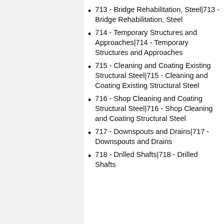Rehabilitation, Concrete
713 - Bridge Rehabilitation, Steel|713 - Bridge Rehabilitation, Steel
714 - Temporary Structures and Approaches|714 - Temporary Structures and Approaches
715 - Cleaning and Coating Existing Structural Steel|715 - Cleaning and Coating Existing Structural Steel
716 - Shop Cleaning and Coating Structural Steel|716 - Shop Cleaning and Coating Structural Steel
717 - Downspouts and Drains|717 - Downspouts and Drains
718 - Drilled Shafts|718 - Drilled Shafts